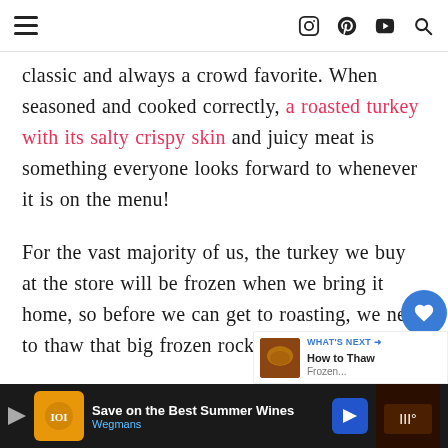[Navigation bar with hamburger menu and social icons: Instagram, Pinterest, YouTube, Search]
classic and always a crowd favorite. When seasoned and cooked correctly, a roasted turkey with its salty crispy skin and juicy meat is something everyone looks forward to whenever it is on the menu!
For the vast majority of us, the turkey we buy at the store will be frozen when we bring it home, so before we can get to roasting, we need to thaw that big frozen rock of deliciousness.
[Figure (infographic): Floating action buttons: blue heart/save button, count '1', and share button]
[Figure (infographic): What's Next panel: thumbnail image and text 'How to Thaw']
[Figure (infographic): Ad banner: 'Save on the Best Summer Wines - Wegmans' with logo and navigation arrow]